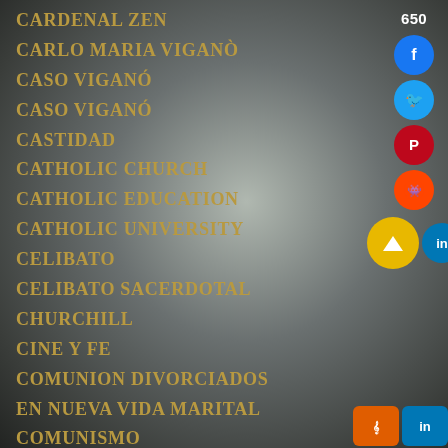CARDENAL ZEN
CARLO MARIA VIGANÒ
CASO VIGANÓ
CASO VIGANÓ
CASTIDAD
CATHOLIC CHURCH
CATHOLIC EDUCATION
CATHOLIC UNIVERSITY
CELIBATO
CELIBATO SACERDOTAL
CHURCHILL
CINE Y FE
COMUNION DIVORCIADOS
EN NUEVA VIDA MARITAL
COMUNISMO
CONCIENCIA
CORONAVIRUS
650